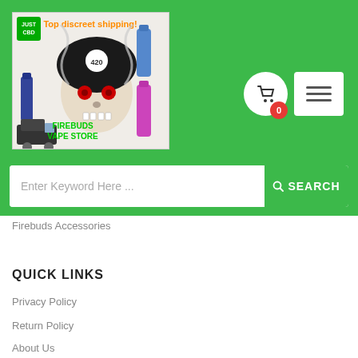[Figure (logo): Firebuds Vape Store logo featuring a skull with a 420 cap, smoke, vape products, and text 'FIREBUDS VAPE STORE' and 'Top discreet shipping']
0
Enter Keyword Here ...
SEARCH
Firebuds Accessories
QUICK LINKS
Privacy Policy
Return Policy
About Us